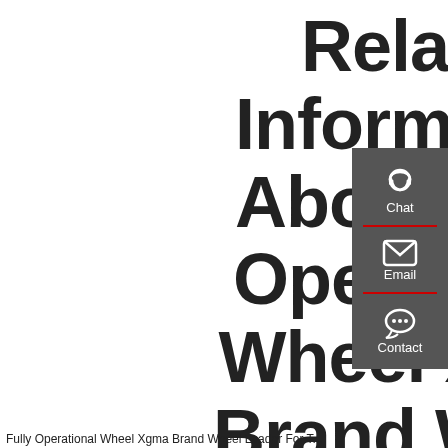Related Information About Fully Operational Wheel Xgma Brand Wheel Loader For Sale
[Figure (infographic): Sidebar widget with dark grey background containing three contact buttons: Chat (headset icon), Email (envelope icon), Contact (speech bubble with dots icon), separated by red divider lines.]
Fully Operational Wheel Xgma Brand Wheel Loader For T...